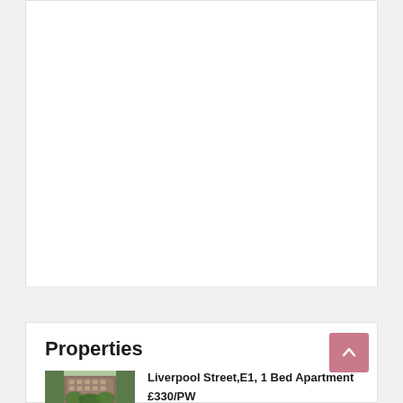[Figure (other): White content card area, mostly blank/white]
Properties
[Figure (photo): Thumbnail photo of a brick apartment building with trees in front, Liverpool Street area]
Liverpool Street,E1, 1 Bed Apartment
£330/PW